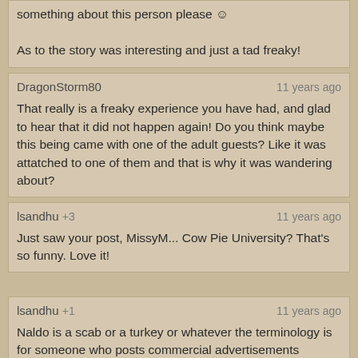something about this person please ☺

As to the story was interesting and just a tad freaky!
DragonStorm80 — 11 years ago
That really is a freaky experience you have had, and glad to hear that it did not happen again! Do you think maybe this being came with one of the adult guests? Like it was attatched to one of them and that is why it was wandering about?
lsandhu +3 — 11 years ago
Just saw your post, MissyM... Cow Pie University? That's so funny. Love it!
lsandhu +1 — 11 years ago
Naldo is a scab or a turkey or whatever the terminology is for someone who posts commercial advertisements masquerading as comments. I've seen the exact same message posted in other stories. I'm sorry he hijacked you commentary, Tess. She deserves a serious response, not some garbage.